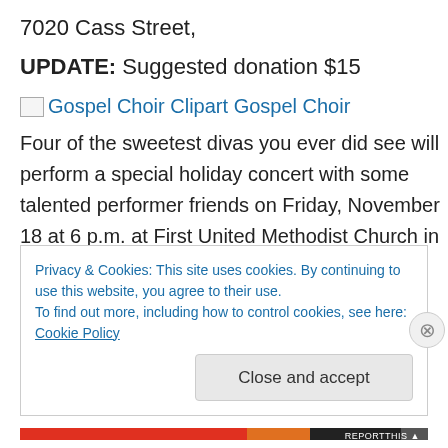7020 Cass Street,
UPDATE: Suggested donation $15
[Figure (illustration): Broken image icon followed by link text 'Gospel Choir Clipart Gospel Choir' in blue hyperlink style]
Four of the sweetest divas you ever did see will perform a special holiday concert with some talented performer friends on Friday, November 18 at 6 p.m. at First United Methodist Church in Omaha.
Their “Music Lives Alll2gether” concert will feature sacred and popular music drawn from different eras and styles
Privacy & Cookies: This site uses cookies. By continuing to use this website, you agree to their use.
To find out more, including how to control cookies, see here: Cookie Policy
Close and accept